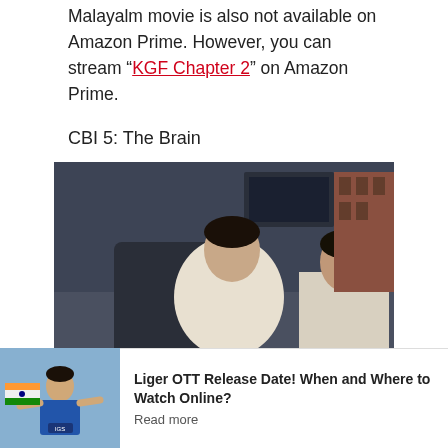Malayalm movie is also not available on Amazon Prime. However, you can stream “KGF Chapter 2” on Amazon Prime.
CBI 5: The Brain
[Figure (photo): Movie still from CBI 5: The Brain showing two actors in a scene]
Director: K. Madhu
[Figure (photo): Related article thumbnail showing an athlete with an Indian flag]
Liger OTT Release Date! When and Where to Watch Online? Read more